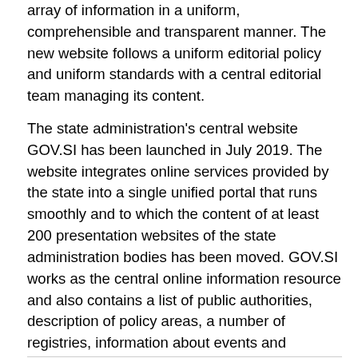array of information in a uniform, comprehensible and transparent manner. The new website follows a uniform editorial policy and uniform standards with a central editorial team managing its content.
The state administration's central website GOV.SI has been launched in July 2019. The website integrates online services provided by the state into a single unified portal that runs smoothly and to which the content of at least 200 presentation websites of the state administration bodies has been moved. GOV.SI works as the central online information resource and also contains a list of public authorities, description of policy areas, a number of registries, information about events and newsroom with a view to providing fast and easy access to an array of information about the work and services provided by the state administration.